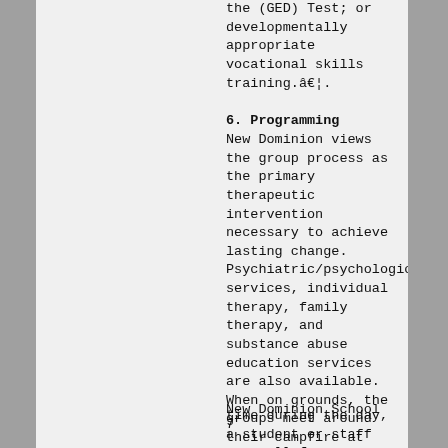the (GED) Test; or developmentally appropriate vocational skills training.â€¦.
6. Programming
New Dominion views the group process as the primary therapeutic intervention necessary to achieve lasting change. Psychiatric/psychological services, individual therapy, family therapy, and substance abuse education services are also available. When on grounds, the groups meet around their campfire at campsite each evening to discuss the day and address any unresolved feelings or concerns. At any
New Dominion School 7
time during the day, a student or staff may call for a group meeting to resolve